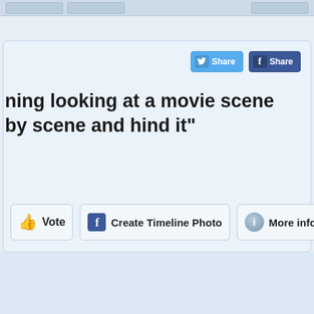[Figure (screenshot): Website UI screenshot showing social share buttons (Twitter Share, Facebook Share), a partial quote text about 'ning looking at a movie scene by scene and hind it"', and three action buttons: Vote, Create Timeline Photo, More info]
ning looking at a movie scene by scene and hind it"
Vote
Create Timeline Photo
More info